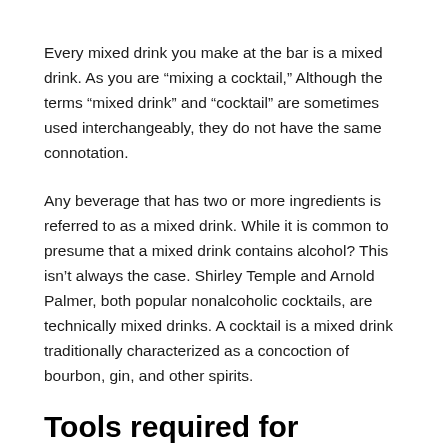Every mixed drink you make at the bar is a mixed drink. As you are “mixing a cocktail,” Although the terms “mixed drink” and “cocktail” are sometimes used interchangeably, they do not have the same connotation.
Any beverage that has two or more ingredients is referred to as a mixed drink. While it is common to presume that a mixed drink contains alcohol? This isn’t always the case. Shirley Temple and Arnold Palmer, both popular nonalcoholic cocktails, are technically mixed drinks. A cocktail is a mixed drink traditionally characterized as a concoction of bourbon, gin, and other spirits.
Tools required for making cocktail